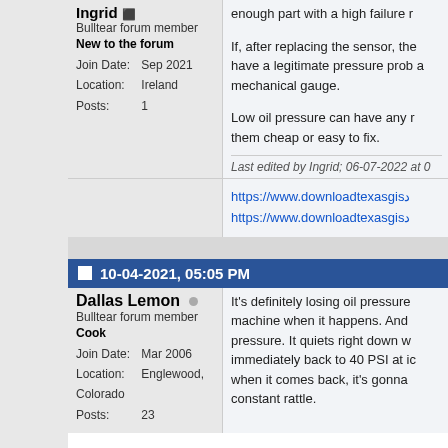Ingrid
Bulltear forum member
New to the forum
Join Date: Sep 2021
Location: Ireland
Posts: 1
enough part with a high failure r
If, after replacing the sensor, the have a legitimate pressure prob a mechanical gauge.
Low oil pressure can have any r them cheap or easy to fix.
Last edited by Ingrid; 06-07-2022 at 0
https://www.downloadtexasgisد
https://www.downloadtexasgisد
10-04-2021, 05:05 PM
Dallas Lemon
Bulltear forum member
Cook
Join Date: Mar 2006
Location: Englewood, Colorado
Posts: 23
It's definitely losing oil pressure machine when it happens. And pressure. It quiets right down w immediately back to 40 PSI at ic when it comes back, it's gonna constant rattle.